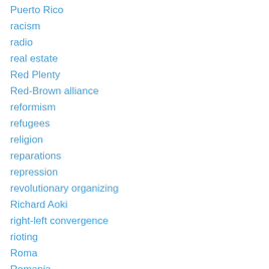Puerto Rico
racism
radio
real estate
Red Plenty
Red-Brown alliance
reformism
refugees
religion
reparations
repression
revolutionary organizing
Richard Aoki
right-left convergence
rioting
Roma
Romania
Russia
Russiagate
Russian Revolution